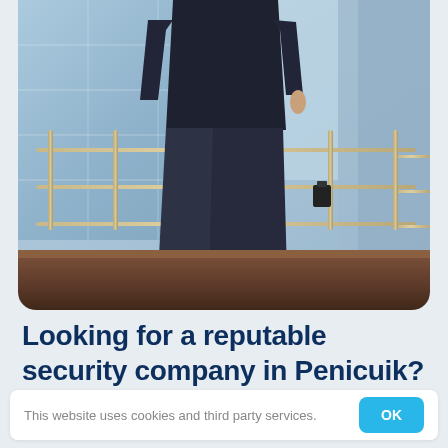[Figure (photo): A person in a dark business suit walking on steps or an outdoor stairway with metal railings and a glass building facade in the background. Only the lower body/legs are visible. The image has rounded bottom corners.]
Looking for a reputable security company in Penicuik?
This website uses cookies and third party services.